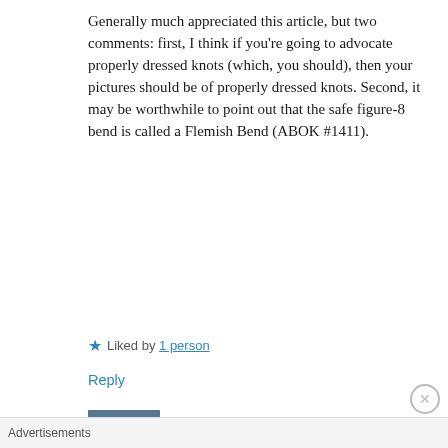Generally much appreciated this article, but two comments: first, I think if you’re going to advocate properly dressed knots (which, you should), then your pictures should be of properly dressed knots. Second, it may be worthwhile to point out that the safe figure-8 bend is called a Flemish Bend (ABOK #1411).
★ Liked by 1 person
Reply
[Figure (photo): Avatar photo of David Lottmann, a person in outdoor/winter gear]
David Lottmann
September 27, 2016 at 1:09 pm
Agreed I could have dressed the
Advertisements